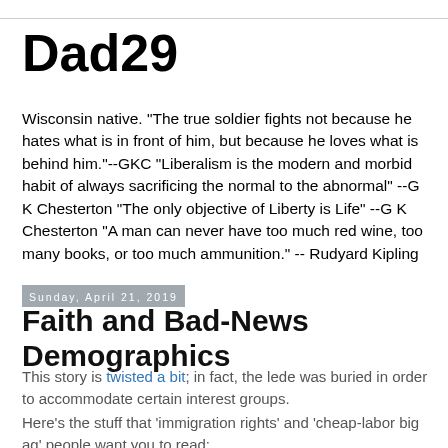Dad29
Wisconsin native. "The true soldier fights not because he hates what is in front of him, but because he loves what is behind him."--GKC "Liberalism is the modern and morbid habit of always sacrificing the normal to the abnormal" --G K Chesterton "The only objective of Liberty is Life" --G K Chesterton "A man can never have too much red wine, too many books, or too much ammunition." -- Rudyard Kipling
Sunday, April 21, 2019
Faith and Bad-News Demographics
This story is twisted a bit; in fact, the lede was buried in order to accommodate certain interest groups.
Here's the stuff that 'immigration rights' and 'cheap-labor big ag' people want you to read: